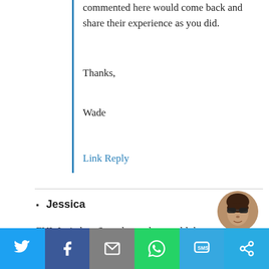commented here would come back and share their experience as you did.
Thanks,
Wade
Link Reply
Jessica
[Figure (photo): Circular avatar photo of Jessica wearing sunglasses]
FYI, I tried on Saturday and was told there was absolutely no way for an American to